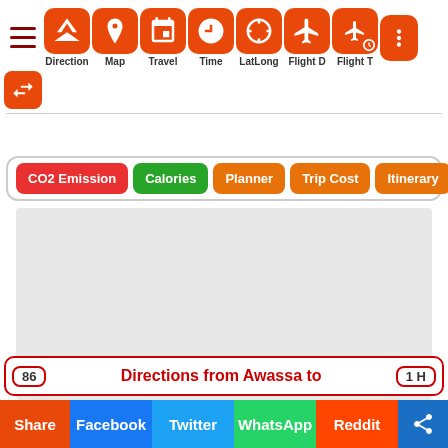[Figure (screenshot): Navigation toolbar with icons: Direction, Map, Travel, Time, LatLong, Flight D, Flight T, and more; swap button on left]
CO2 Emission | Calories | Planner | Trip Cost | Itinerary
[Figure (screenshot): Large grey placeholder content area]
86  Directions from Awassa to  1 H
Share | Facebook | Twitter | WhatsApp | Reddit